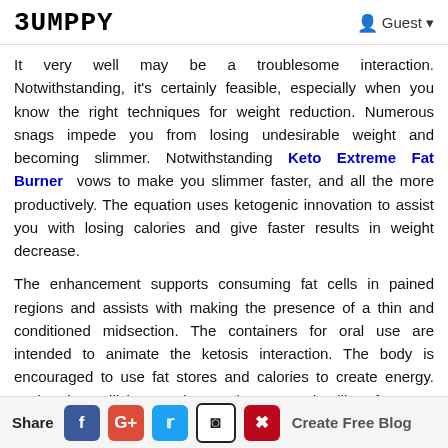BUMPPY   Guest
It very well may be a troublesome interaction. Notwithstanding, it's certainly feasible, especially when you know the right techniques for weight reduction. Numerous snags impede you from losing undesirable weight and becoming slimmer. Notwithstanding Keto Extreme Fat Burner vows to make you slimmer faster, and all the more productively. The equation uses ketogenic innovation to assist you with losing calories and give faster results in weight decrease.
The enhancement supports consuming fat cells in pained regions and assists with making the presence of a thin and conditioned midsection. The containers for oral use are intended to animate the ketosis interaction. The body is encouraged to use fat stores and calories to create energy. Rather than utilizing starches to give energy, it utilizes fat
Share  f  G+  Twitter  Reddit  Pinterest  Create Free Blog